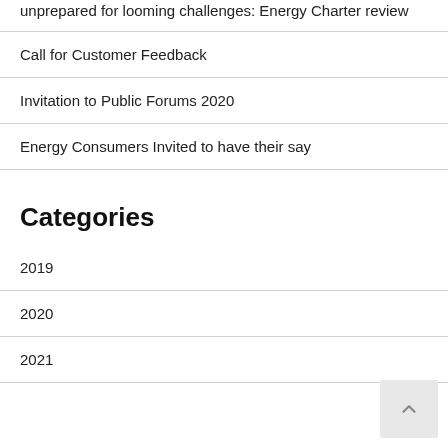unprepared for looming challenges: Energy Charter review
Call for Customer Feedback
Invitation to Public Forums 2020
Energy Consumers Invited to have their say
Categories
2019
2020
2021